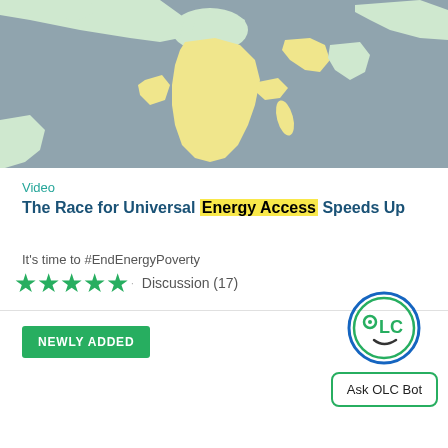[Figure (map): World map showing Africa and surrounding regions highlighted in light yellow, oceans in grey-blue.]
Video
The Race for Universal Energy Access Speeds Up
It's time to #EndEnergyPoverty
★★★★★ Discussion (17)
NEWLY ADDED
[Figure (logo): OLC Bot circular logo with face icon and 'Ask OLC Bot' button below it.]